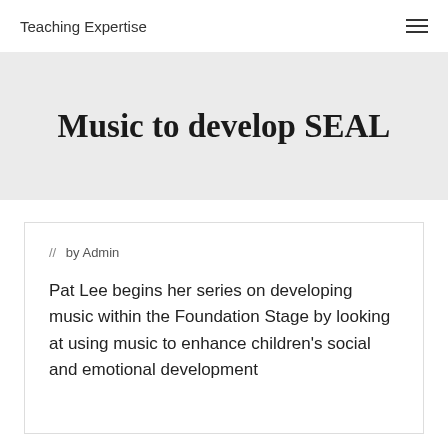Teaching Expertise
Music to develop SEAL
// by Admin
Pat Lee begins her series on developing music within the Foundation Stage by looking at using music to enhance children's social and emotional development